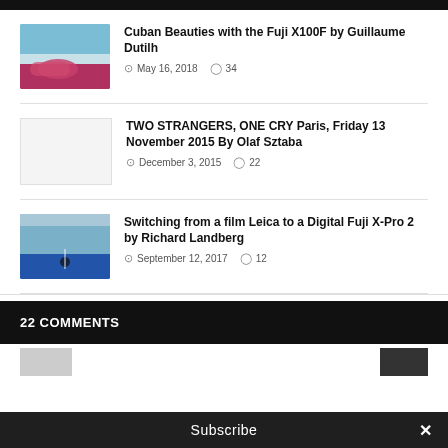[Figure (screenshot): Dark top bar strip]
Cuban Beauties with the Fuji X100F by Guillaume Dutilh
May 16, 2018  34
TWO STRANGERS, ONE CRY Paris, Friday 13 November 2015 By Olaf Sztaba
December 3, 2015  22
Switching from a film Leica to a Digital Fuji X-Pro 2 by Richard Landberg
September 12, 2017  12
22 COMMENTS
Subscribe